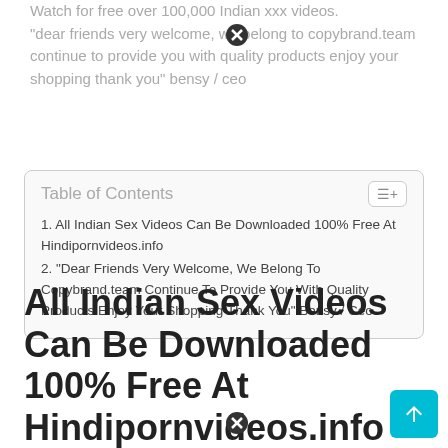Watch for free over 100,000 Indian xxx videos. "dear friends very welcome, we belong to copybrand.team continue to provide you with quality products enjoy your shopping thank you" bensy / ceo
| Table of Contents |
| --- |
| 1. All Indian Sex Videos Can Be Downloaded 100% Free At Hindipornvideos.info |
| 2. "Dear Friends Very Welcome, We Belong To Copybrand.team Continue To Provide You With Quality Products Enjoy Your Shopping Thank You" Bensy / Ceo |
All Indian Sex Videos Can Be Downloaded 100% Free At Hindipornvideos.info